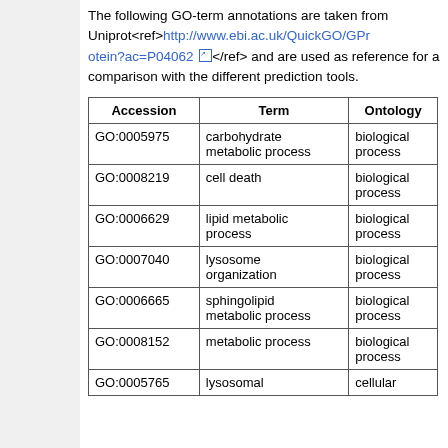The following GO-term annotations are taken from Uniprot<ref>http://www.ebi.ac.uk/QuickGO/GProtein?ac=P04062 </ref> and are used as reference for a comparison with the different prediction tools.
| Accession | Term | Ontology |
| --- | --- | --- |
| GO:0005975 | carbohydrate metabolic process | biological process |
| GO:0008219 | cell death | biological process |
| GO:0006629 | lipid metabolic process | biological process |
| GO:0007040 | lysosome organization | biological process |
| GO:0006665 | sphingolipid metabolic process | biological process |
| GO:0008152 | metabolic process | biological process |
| GO:0005765 | lysosomal | cellular |